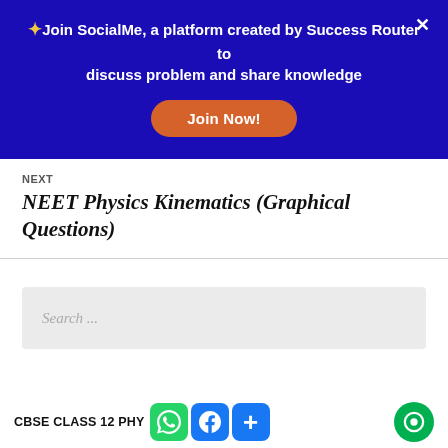✦Join SocialMe, a platform created by Success Router to discuss problem and share knowledge
Join Now!
NEXT
NEET Physics Kinematics (Graphical Questions)
Search ...
CBSE CLASS 12 PHYSICS